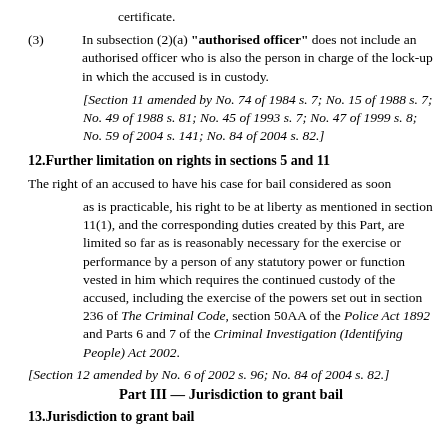certificate.
(3)In subsection (2)(a) "authorised officer" does not include an authorised officer who is also the person in charge of the lock-up in which the accused is in custody.
[Section 11 amended by No. 74 of 1984 s. 7; No. 15 of 1988 s. 7; No. 49 of 1988 s. 81; No. 45 of 1993 s. 7; No. 47 of 1999 s. 8; No. 59 of 2004 s. 141; No. 84 of 2004 s. 82.]
12.Further limitation on rights in sections 5 and 11
The right of an accused to have his case for bail considered as soon as is practicable, his right to be at liberty as mentioned in section 11(1), and the corresponding duties created by this Part, are limited so far as is reasonably necessary for the exercise or performance by a person of any statutory power or function vested in him which requires the continued custody of the accused, including the exercise of the powers set out in section 236 of The Criminal Code, section 50AA of the Police Act 1892 and Parts 6 and 7 of the Criminal Investigation (Identifying People) Act 2002.
[Section 12 amended by No. 6 of 2002 s. 96; No. 84 of 2004 s. 82.]
Part III — Jurisdiction to grant bail
13.Jurisdiction to grant bail